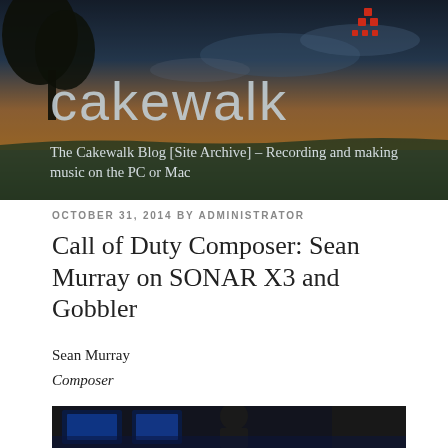[Figure (photo): Cakewalk blog banner header image showing a sunset/dusk scene over water with trees, with the Cakewalk logo overlaid]
The Cakewalk Blog [Site Archive] – Recording and making music on the PC or Mac
OCTOBER 31, 2014 BY ADMINISTRATOR
Call of Duty Composer: Sean Murray on SONAR X3 and Gobbler
Sean Murray
Composer
[Figure (photo): Photo of Sean Murray in his music production studio with monitors, speakers, and recording equipment]